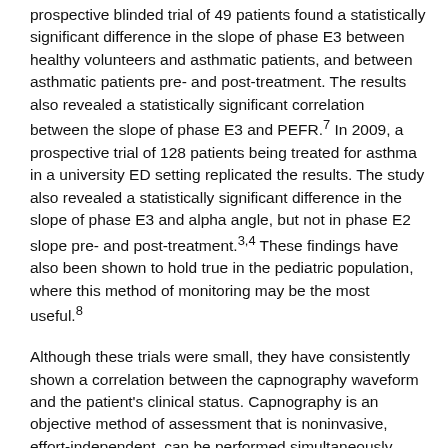prospective blinded trial of 49 patients found a statistically significant difference in the slope of phase E3 between healthy volunteers and asthmatic patients, and between asthmatic patients pre- and post-treatment. The results also revealed a statistically significant correlation between the slope of phase E3 and PEFR.7 In 2009, a prospective trial of 128 patients being treated for asthma in a university ED setting replicated the results. The study also revealed a statistically significant difference in the slope of phase E3 and alpha angle, but not in phase E2 slope pre- and post-treatment.3,4 These findings have also been shown to hold true in the pediatric population, where this method of monitoring may be the most useful.8
Although these trials were small, they have consistently shown a correlation between the capnography waveform and the patient's clinical status. Capnography is an objective method of assessment that is noninvasive, effort-independent, can be performed simultaneously while the patient is receiving treatment, and can be used to monitor the patient's progress in real time.
Although routinely calculating the slopes and angles of